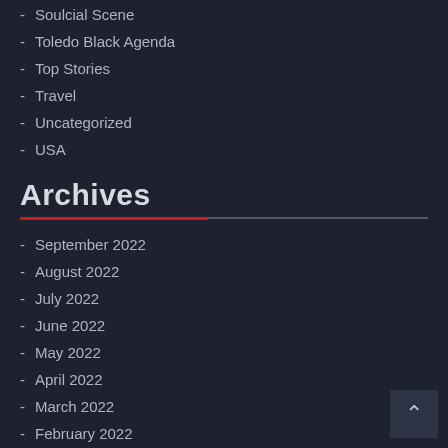- Soulcial Scene
- Toledo Black Agenda
- Top Stories
- Travel
- Uncategorized
- USA
Archives
- September 2022
- August 2022
- July 2022
- June 2022
- May 2022
- April 2022
- March 2022
- February 2022
- January 2022